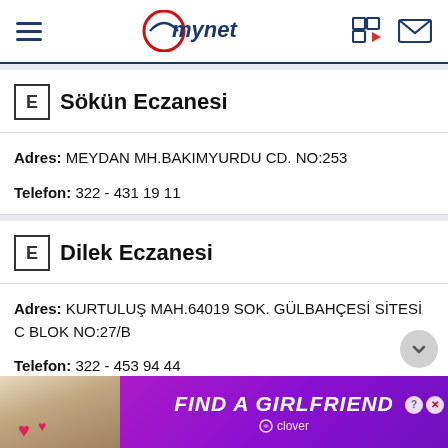mynet
Sökün Eczanesi
Adres: MEYDAN MH.BAKIMYURDU CD. NO:253
Telefon: 322 - 431 19 11
Dilek Eczanesi
Adres: KURTULUŞ MAH.64019 SOK. GÜLBAHÇESİ SİTESİ C BLOK NO:27/B
Telefon: 322 - 453 94 44
[Figure (screenshot): Advertisement banner: FIND A GIRLFRIEND - clover app]